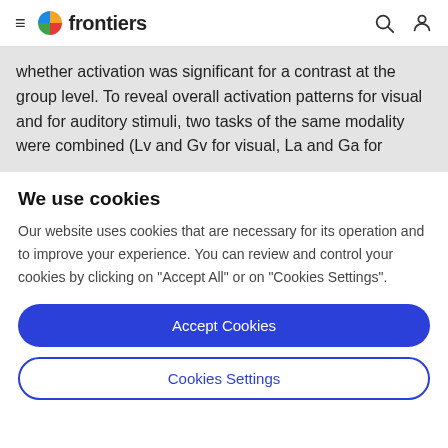frontiers
whether activation was significant for a contrast at the group level. To reveal overall activation patterns for visual and for auditory stimuli, two tasks of the same modality were combined (Lv and Gv for visual, La and Ga for
We use cookies
Our website uses cookies that are necessary for its operation and to improve your experience. You can review and control your cookies by clicking on "Accept All" or on "Cookies Settings".
Accept Cookies
Cookies Settings